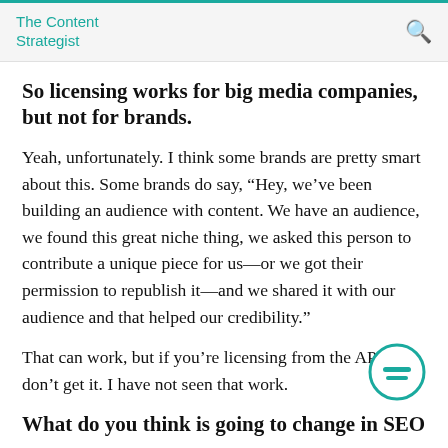The Content Strategist
So licensing works for big media companies, but not for brands.
Yeah, unfortunately. I think some brands are pretty smart about this. Some brands do say, “Hey, we’ve been building an audience with content. We have an audience, we found this great niche thing, we asked this person to contribute a unique piece for us—or we got their permission to republish it—and we shared it with our audience and that helped our credibility.”
That can work, but if you’re licensing from the AP, I don’t get it. I have not seen that work.
What do you think is going to change in SEO